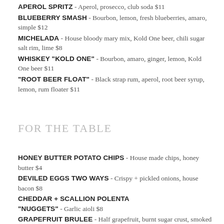APEROL SPRITZ - Aperol, prosecco, club soda $11
BLUEBERRY SMASH - Bourbon, lemon, fresh blueberries, amaro, simple $12
MICHELADA - House bloody mary mix, Kold One beer, chili sugar salt rim, lime $8
WHISKEY "KOLD ONE" - Bourbon, amaro, ginger, lemon, Kold One beer $11
"ROOT BEER FLOAT" - Black strap rum, aperol, root beer syrup, lemon, rum floater $11
FOR THE TABLE
HONEY BUTTER POTATO CHIPS - House made chips, honey butter $4
DEVILED EGGS TWO WAYS - Crispy + pickled onions, house bacon $8
CHEDDAR + SCALLION POLENTA "NUGGETS" - Garlic aioli $8
GRAPEFRUIT BRULEE - Half grapefruit, burnt sugar crust, smoked honey $3